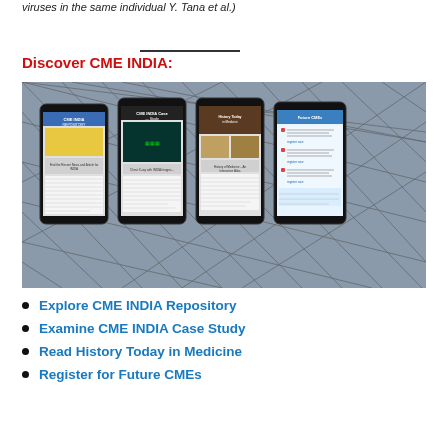viruses in the same individual Y. Tana et al.)
Discover CME INDIA:
[Figure (photo): Four smartphones displaying different CME INDIA website pages (Repository, Case Study, History Today in Medicine, Future CMEs) against a geometric glass ceiling background.]
Explore CME INDIA Repository
Examine CME INDIA Case Study
Read History Today in Medicine
Register for Future CMEs